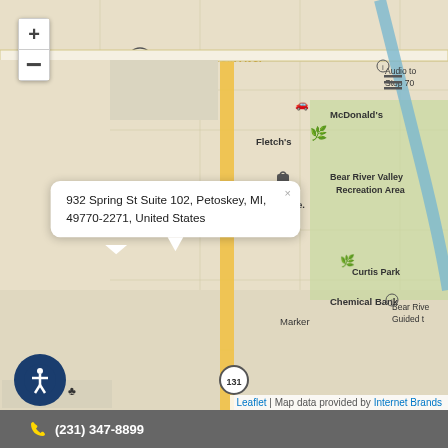[Figure (map): Interactive street map of Petoskey, MI showing Charlevoix Ave, Spring Street (US-131), McDonald's, Fletch's, Next Door Store, Bear River Valley Recreation Area, Chemical Bank, Curtis Park, Greenwood Cemetery, and a location marker with popup showing address 932 Spring St Suite 102, Petoskey, MI, 49770-2271, United States. Map includes zoom controls (+/-) and accessibility icon.]
932 Spring St Suite 102, Petoskey, MI, 49770-2271, United States
Leaflet | Map data provided by Internet Brands
(231) 347-8899